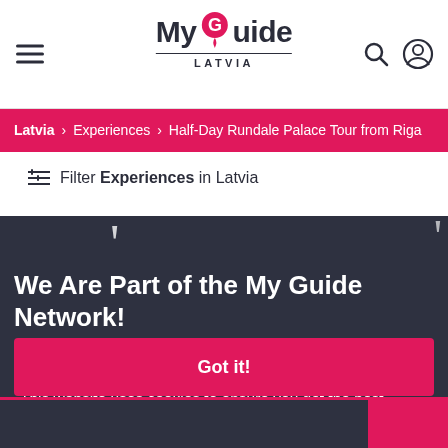My Guide Latvia
Latvia > Experiences > Half-Day Rundale Palace Tour from Riga
Filter Experiences in Latvia
We Are Part of the My Guide Network!
Online &
This website uses cookies to ensure you get the best experience on our website.
Learn more
to find
Got it!